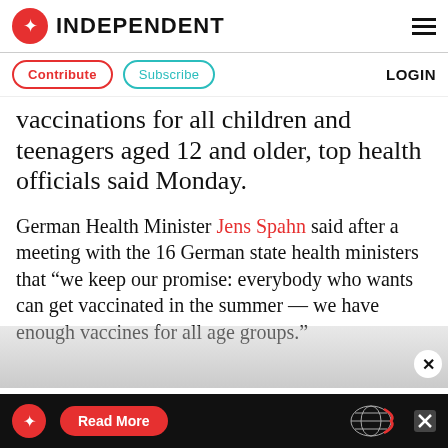INDEPENDENT
Contribute  Subscribe  LOGIN
vaccinations for all children and teenagers aged 12 and older, top health officials said Monday.
German Health Minister Jens Spahn said after a meeting with the 16 German state health ministers that “we keep our promise: everybody who wants can get vaccinated in the summer — we have enough vaccines for all age groups.”
[Figure (screenshot): Advertisement banner at the bottom showing The Independent logo, a red Read More button, and a globe graphic on a black background]